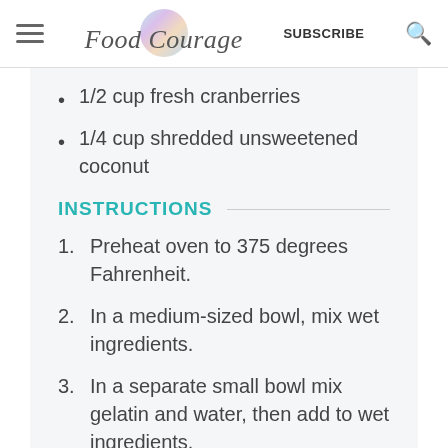Food Courage — SUBSCRIBE
1/2 cup fresh cranberries
1/4 cup shredded unsweetened coconut
INSTRUCTIONS
1. Preheat oven to 375 degrees Fahrenheit.
2. In a medium-sized bowl, mix wet ingredients.
3. In a separate small bowl mix gelatin and water, then add to wet ingredients.